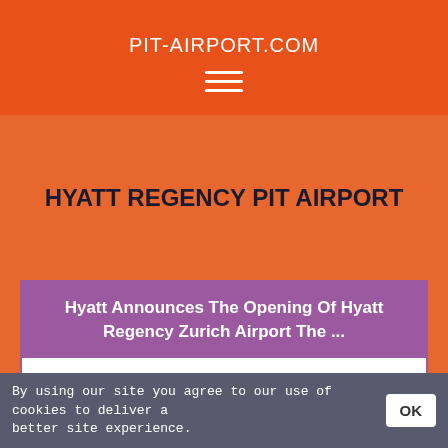PIT-AIRPORT.COM
HYATT REGENCY PIT AIRPORT
Hyatt Announces The Opening Of Hyatt Regency Zurich Airport The ...
7 Apr 2021 ... Hyatt Hotels Corporation (NYSE: H) announced the opening of Hyatt Regency Zurich Airport The Circle, the first hotel under the Hyatt
By using our site you agree to our use of cookies to deliver a better site experience.